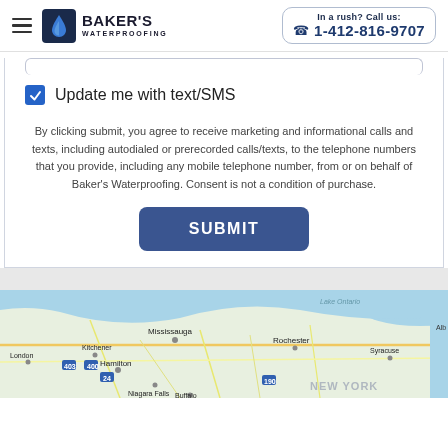Baker's Waterproofing | In a rush? Call us: 1-412-816-9707
Update me with text/SMS
By clicking submit, you agree to receive marketing and informational calls and texts, including autodialed or prerecorded calls/texts, to the telephone numbers that you provide, including any mobile telephone number, from or on behalf of Baker's Waterproofing. Consent is not a condition of purchase.
SUBMIT
[Figure (map): Google Maps view showing northeastern US and southern Ontario region including Mississauga, Hamilton, Niagara Falls, Buffalo, Rochester, Syracuse, London, and New York label]